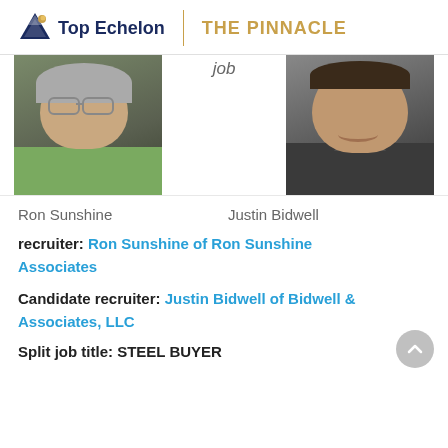Top Echelon | THE PINNACLE
[Figure (photo): Partial view of two recruiter profile photos side by side, with 'job' text label in the middle top area. Left photo: older man smiling wearing green shirt. Right photo: younger man smiling wearing dark shirt.]
Ron Sunshine   Justin Bidwell
recruiter: Ron Sunshine of Ron Sunshine Associates
Candidate recruiter: Justin Bidwell of Bidwell & Associates, LLC
Split job title: STEEL BUYER